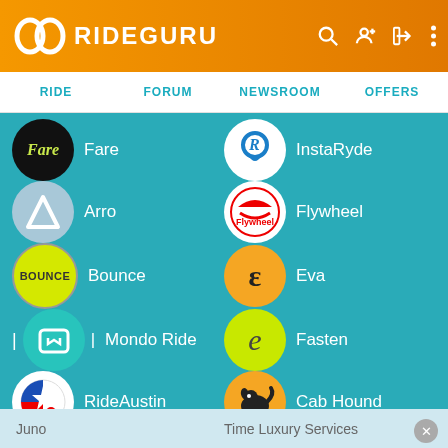RIDEGURU
RIDE  FORUM  NEWSROOM  OFFERS
[Figure (screenshot): RideGuru website listing of rideshare services including Fare, Arro, Bounce, Mondo Ride, RideAustin on left column, and InstaRyde, Flywheel, Eva, Fasten, Cab Hound on right column, with Juno and Time Luxury Services partially visible in footer.]
Juno   Time Luxury Services